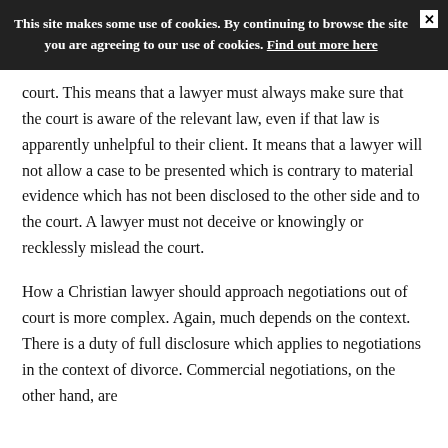This site makes some use of cookies. By continuing to browse the site you are agreeing to our use of cookies. Find out more here
court.  This means that a lawyer must always make sure that the court is aware of the relevant law, even if that law is apparently unhelpful to their client.  It means that a lawyer will not allow a case to be presented which is contrary to material evidence which has not been disclosed to the other side and to the court.  A lawyer must not deceive or knowingly or recklessly mislead the court.
How a Christian lawyer should approach negotiations out of court is more complex.  Again, much depends on the context.  There is a duty of full disclosure which applies to negotiations in the context of divorce.  Commercial negotiations, on the other hand, are